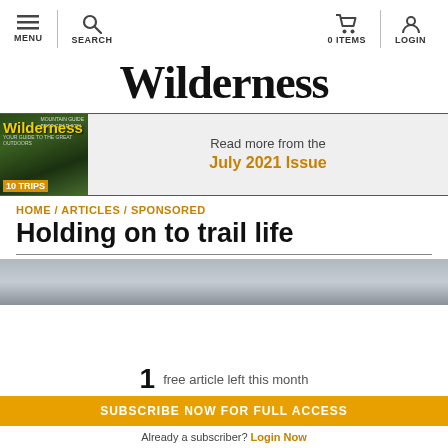MENU | SEARCH | 0 ITEMS | LOGIN
Wilderness
[Figure (other): Wilderness magazine cover, July 2021 Issue, with text 'Read more from the July 2021 Issue']
HOME / ARTICLES / SPONSORED
Holding on to trail life
[Figure (photo): Hero image - grey cloudy sky]
1 free article left this month
SUBSCRIBE NOW FOR FULL ACCESS
Already a subscriber? Login Now